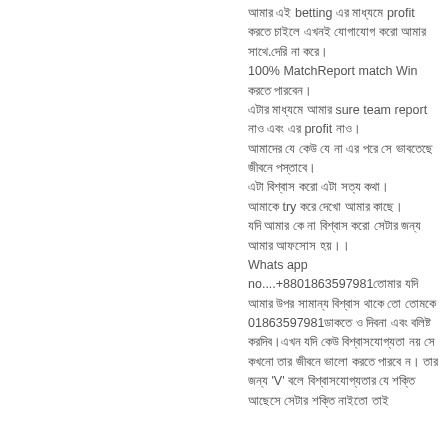আমার এই betting এর মাধ্যমে profit করতে চাইলে এখনই যোগাযোগ করো আমার সাথে.দেরি না করে। 100% MatchReport match Win করতে পারবেন। এটার মাধ্যমে আমার sure team report নাও এবং এর profit নাও। আমাদের যে কেউ যে না এর পরে সে ভাবতেছে জীবনে পস্তাবে। এটা বিশ্বাস করো এটা সত্য কথা। আমাকে try করে দেখো আমার কাছে। যদি আমার কে না বিশ্বাস করো সেটার জন্য আমার আফসোস হয়।। Whats app no....+8801863597981তোমার যদি আমার উপর সামান্য বিশ্বাস থাকে তো তোমকে 01863597981ডাকতে ও দিবনা এবং বলিষ্ট করদিব।এখন যদি কেউ বিশ্বাসযোগ্যতা নয় সে কখনো তার জীবনে ভালো করতে পারবে ন। তার জন্য 'V' বলে বিশ্বাসযোগ্যতার যে শক্তি আছেসে সেটার শক্তি নাইতো তাই
Unknown August 21, 2020
🔴CPL বাজিতে সব ধরণ 🔴T20 ĆRÍĆKÉT 🔴RÉPŐŔT🔴🔴🔴 পাচ্ছেন এখন এখানে যেকোন ম্যাচের বিশেষজ্ঞ রিপোর্ট পাচ্ছেন সঠিক এবং নিশ্চিত ম্যাচ রিপোর্ট নিতে ই আজই যোগাযোগ করুন এবং লাভবান হন বিস্তারিত জানতে Whátápps & imo 01752062934 ☎